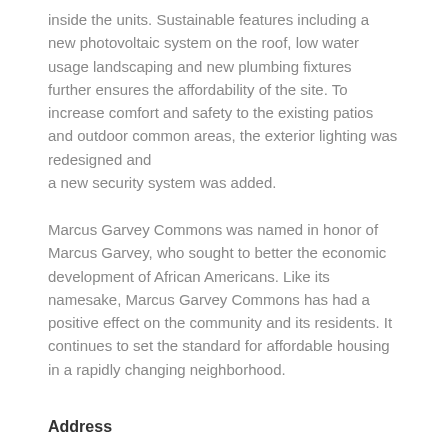inside the units. Sustainable features including a new photovoltaic system on the roof, low water usage landscaping and new plumbing fixtures further ensures the affordability of the site. To increase comfort and safety to the existing patios and outdoor common areas, the exterior lighting was redesigned and a new security system was added.
Marcus Garvey Commons was named in honor of Marcus Garvey, who sought to better the economic development of African Americans. Like its namesake, Marcus Garvey Commons has had a positive effect on the community and its residents. It continues to set the standard for affordable housing in a rapidly changing neighborhood.
Address